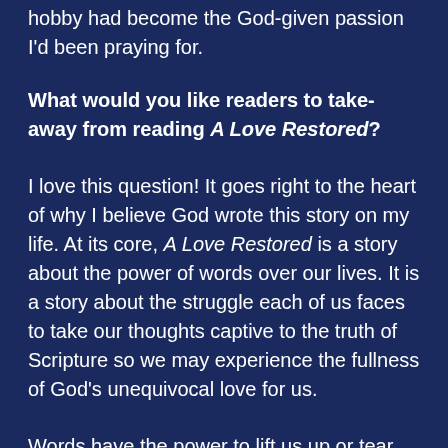hobby had become the God-given passion I'd been praying for.
What would you like readers to take-away from reading A Love Restored?
I love this question! It goes right to the heart of why I believe God wrote this story on my life. At its core, A Love Restored is a story about the power of words over our lives. It is a story about the struggle each of us faces to take our thoughts captive to the truth of Scripture so we may experience the fullness of God’s unequivocal love for us.
Words have the power to lift us up or tear us down, and the most dangerous ones are the ones we